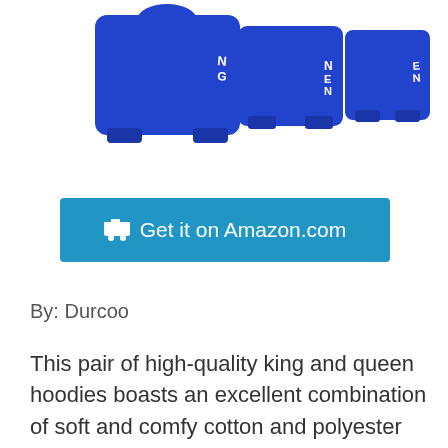[Figure (photo): Three blue king and queen matching hoodies shown from front and side angles, with text on sleeves, displayed against white background]
🛒 Get it on Amazon.com
By: Durcoo
This pair of high-quality king and queen hoodies boasts an excellent combination of soft and comfy cotton and polyester materials. The lightweight and soft material makes the hoodies